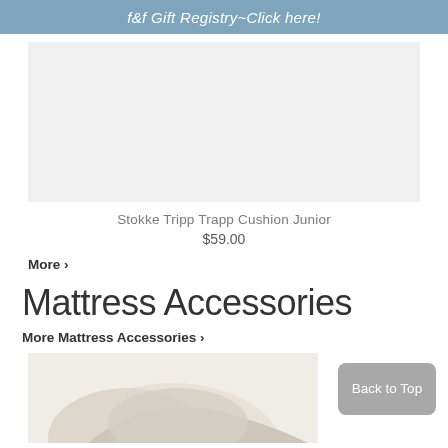f&f Gift Registry~Click here!
[Figure (photo): Product image area placeholder for Stokke Tripp Trapp Cushion Junior (light gray background)]
Stokke Tripp Trapp Cushion Junior
$59.00
More ›
Mattress Accessories
More Mattress Accessories ›
[Figure (photo): Partial product image of a mattress accessory item (white/cream fabric product) on a light background]
Back to Top